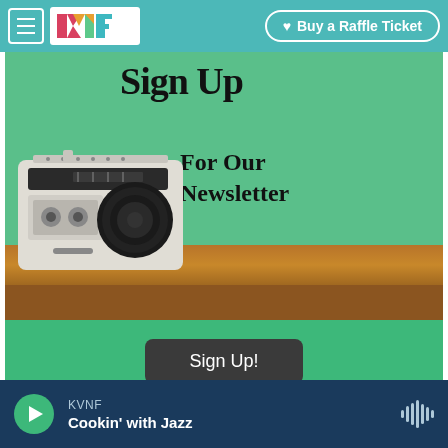KMF | Buy a Raffle Ticket
[Figure (illustration): Sign Up For Our Newsletter promotional image with a vintage radio/cassette player on a wooden shelf against a teal background]
Sign Up!
KVNF — Cookin' with Jazz